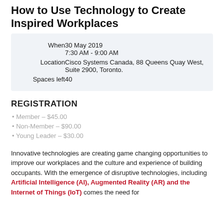How to Use Technology to Create Inspired Workplaces
| Field | Value |
| --- | --- |
| When | 30 May 2019
7:30 AM - 9:00 AM |
| Location | Cisco Systems Canada, 88 Queens Quay West, Suite 2900, Toronto. |
| Spaces left | 40 |
REGISTRATION
Member – $45.00
Non-Member – $90.00
Young Leader – $30.00
Innovative technologies are creating game changing opportunities to improve our workplaces and the culture and experience of building occupants. With the emergence of disruptive technologies, including Artificial Intelligence (AI), Augmented Reality (AR) and the Internet of Things (IoT) comes the need for